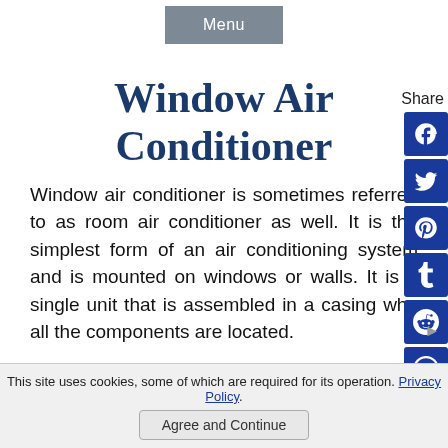Menu
Window Air Conditioner
Window air conditioner is sometimes referred to as room air conditioner as well. It is the simplest form of an air conditioning system and is mounted on windows or walls. It is a single unit that is assembled in a casing whe all the components are located.
This site uses cookies, some of which are required for its operation. Privacy Policy.
Agree and Continue